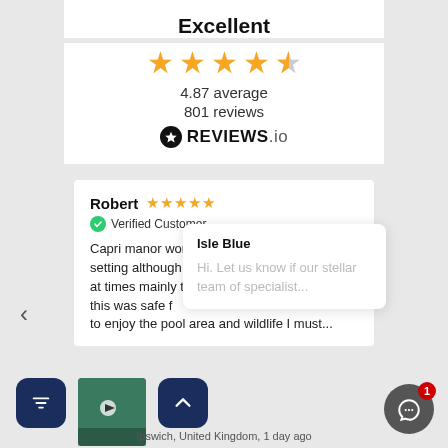Excellent
[Figure (other): 5-star rating display showing 4 full orange stars and 1 half grey star]
4.87 average
801 reviews
[Figure (logo): REVIEWS.io logo with star in black circle]
Robert ★★★★★ Verified Customer
Capri manor wonde... setting although roa... at times mainly the l... this was safe ...f... to enjoy the pool area and wildlife I must...
Isle Blue
Hi. Let us know if our stellar team of specialist...
Ipswich, United Kingdom, 1 day ago